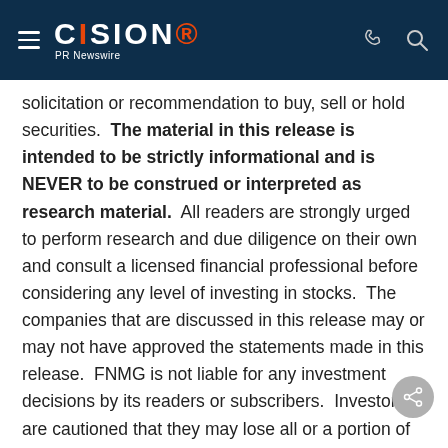CISION PR Newswire
solicitation or recommendation to buy, sell or hold securities. The material in this release is intended to be strictly informational and is NEVER to be construed or interpreted as research material. All readers are strongly urged to perform research and due diligence on their own and consult a licensed financial professional before considering any level of investing in stocks. The companies that are discussed in this release may or may not have approved the statements made in this release. FNMG is not liable for any investment decisions by its readers or subscribers. Investors are cautioned that they may lose all or a portion of their investment when investing in stocks.